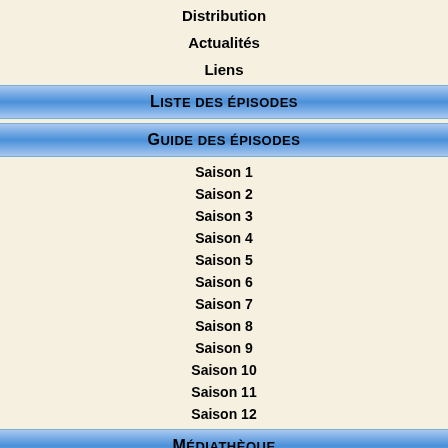Distribution
Actualités
Liens
Liste des épisodes
Guide des épisodes
Saison 1
Saison 2
Saison 3
Saison 4
Saison 5
Saison 6
Saison 7
Saison 8
Saison 9
Saison 10
Saison 11
Saison 12
Médiathèque
DVD en Séries
Livres en Séries
Presse en Séries